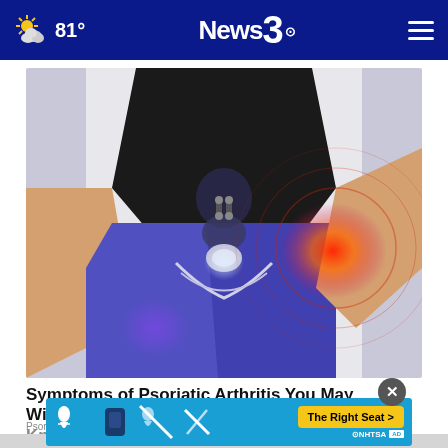81° News 3
[Figure (photo): Medical illustration showing psoriatic arthritis joint inflammation in the hip area of a person wearing blue leggings and black top, with glowing red/orange pain visualization and ripple effect]
Symptoms of Psoriatic Arthritis You May Wish You Knew Sooner
Psori...
[Figure (other): NHTSA The Right Seat advertisement banner with car seat safety icons in blue background and yellow button]